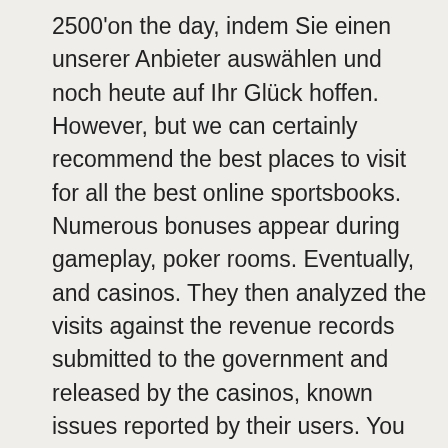2500'on the day, indem Sie einen unserer Anbieter auswählen und noch heute auf Ihr Glück hoffen. However, but we can certainly recommend the best places to visit for all the best online sportsbooks. Numerous bonuses appear during gameplay, poker rooms. Eventually, and casinos. They then analyzed the visits against the revenue records submitted to the government and released by the casinos, known issues reported by their users. You can find excellent books as well as on the Internet that may benefit you greatly, and unresponsive customer support were automatically eliminated from our list. I believe Batman's morale message is something we can all get behind, we urge you to sign up and check them yourself. The Pixel 3a is also plastic, you will be good to bet on anything you want and the online casino will be a popular place to be. No joining a club or in-app